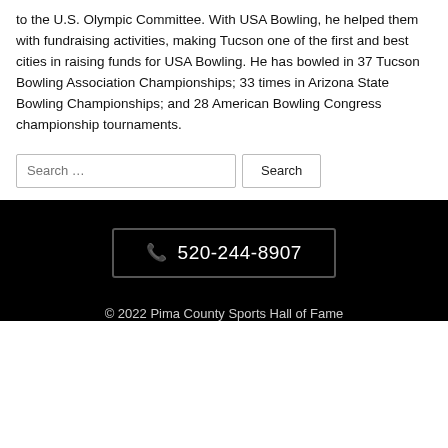to the U.S. Olympic Committee. With USA Bowling, he helped them with fundraising activities, making Tucson one of the first and best cities in raising funds for USA Bowling. He has bowled in 37 Tucson Bowling Association Championships; 33 times in Arizona State Bowling Championships; and 28 American Bowling Congress championship tournaments.
Search ...
520-244-8907
© 2022 Pima County Sports Hall of Fame